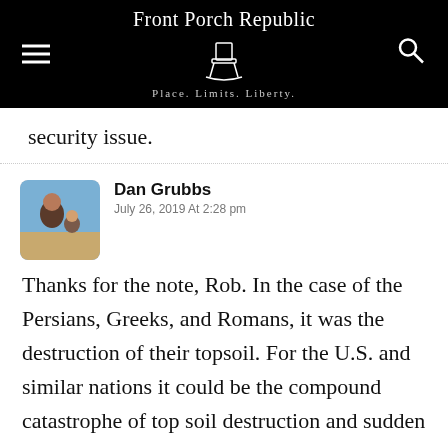Front Porch Republic — Place. Limits. Liberty.
security issue.
Dan Grubbs
July 26, 2019 At 2:28 pm
Thanks for the note, Rob. In the case of the Persians, Greeks, and Romans, it was the destruction of their topsoil. For the U.S. and similar nations it could be the compound catastrophe of top soil destruction and sudden petroleum squeeze. There won't be any government program that can rescue the nation from